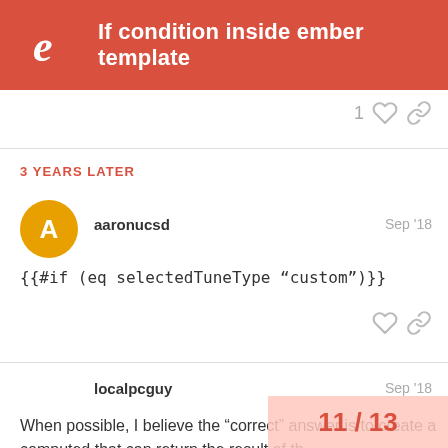If condition inside ember template
1 (like) (link)
3 YEARS LATER
aaronucsd  Sep '18
{{#if (eq selectedTuneType “custom”)}}
localpcguy  Sep '18
When possible, I believe the “correct” answer is to create a computed that can return the result of th... doesn’t work in things like {{#each}} b...
11 / 13